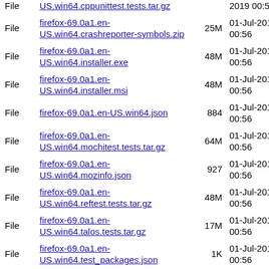| Type | Name | Size | Date |
| --- | --- | --- | --- |
| File | US.win64.cppunittest.tests.tar.gz |  | 2019 00:56 |
| File | firefox-69.0a1.en-US.win64.crashreporter-symbols.zip | 25M | 01-Jul-2019 00:56 |
| File | firefox-69.0a1.en-US.win64.installer.exe | 48M | 01-Jul-2019 00:56 |
| File | firefox-69.0a1.en-US.win64.installer.msi | 48M | 01-Jul-2019 00:56 |
| File | firefox-69.0a1.en-US.win64.json | 884 | 01-Jul-2019 00:56 |
| File | firefox-69.0a1.en-US.win64.mochitest.tests.tar.gz | 64M | 01-Jul-2019 00:56 |
| File | firefox-69.0a1.en-US.win64.mozinfo.json | 927 | 01-Jul-2019 00:56 |
| File | firefox-69.0a1.en-US.win64.reftest.tests.tar.gz | 48M | 01-Jul-2019 00:56 |
| File | firefox-69.0a1.en-US.win64.talos.tests.tar.gz | 17M | 01-Jul-2019 00:56 |
| File | firefox-69.0a1.en-US.win64.test_packages.json | 1K | 01-Jul-2019 00:56 |
| File | firefox-69.0a1.en-US.win64.txt | 99 | 01-Jul-2019 00:56 |
| File | firefox-69.0a1.en-US.win64.web-platform.tests.tar.gz | 52M | 01-Jul-2019 00:56 |